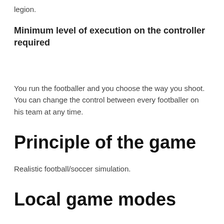legion.
Minimum level of execution on the controller required
You run the footballer and you choose the way you shoot. You can change the control between every footballer on his team at any time.
Principle of the game
Realistic football/soccer simulation.
Local game modes